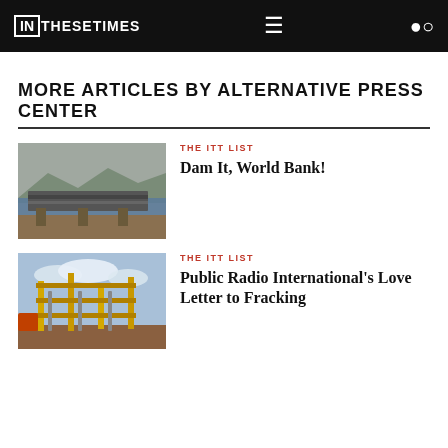IN THESE TIMES
MORE ARTICLES BY ALTERNATIVE PRESS CENTER
[Figure (photo): Aerial view of a large dam with water on one side and dry landscape on the other]
THE ITT LIST
Dam It, World Bank!
[Figure (photo): Industrial fracking equipment with yellow metal structures against a blue sky]
THE ITT LIST
Public Radio International's Love Letter to Fracking